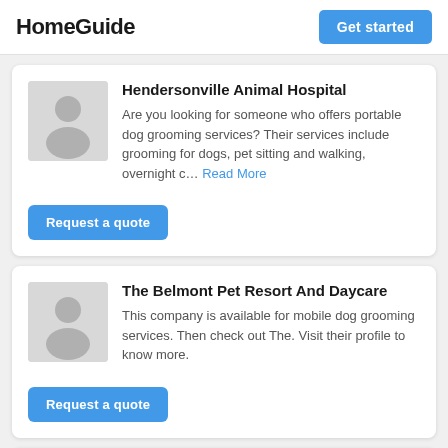HomeGuide | Get started
Hendersonville Animal Hospital
Are you looking for someone who offers portable dog grooming services? Their services include grooming for dogs, pet sitting and walking, overnight c... Read More
Request a quote
The Belmont Pet Resort And Daycare
This company is available for mobile dog grooming services. Then check out The. Visit their profile to know more.
Request a quote